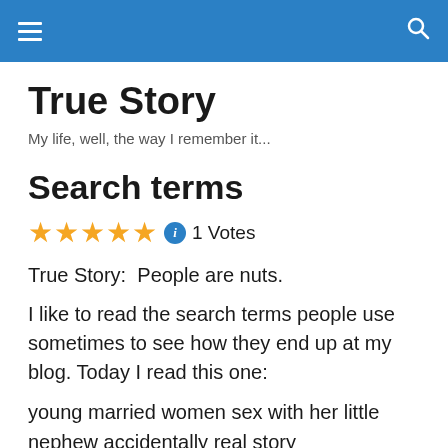True Story — navigation bar
True Story
My life, well, the way I remember it...
Search terms
★★★★★ ℹ 1 Votes
True Story:  People are nuts.
I like to read the search terms people use sometimes to see how they end up at my blog. Today I read this one:
young married women sex with her little nephew accidentally real story